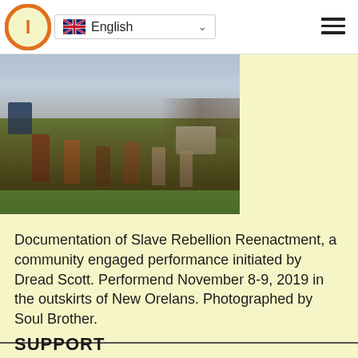English
[Figure (photo): Group of people in period costumes marching across a grassy field during the Slave Rebellion Reenactment. A dark flag is visible on the left. Horses and riders on a ridge in the background, along with buildings near a waterway.]
Documentation of Slave Rebellion Reenactment, a community engaged performance initiated by Dread Scott. Performend November 8-9, 2019 in the outskirts of New Orelans. Photographed by Soul Brother.
SUPPORT